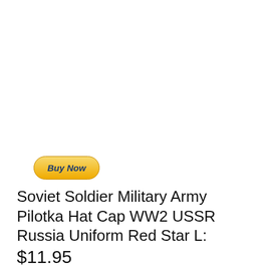[Figure (other): PayPal Buy Now button — yellow/gold gradient pill-shaped button with italic bold dark blue text 'Buy Now']
Soviet Soldier Military Army Pilotka Hat Cap WW2 USSR Russia Uniform Red Star L:
$11.95
Ships from USA in 1-2 days, delivery takes 2-3 business days. We also have S and M sizes. You can add a comment to order if you need some instead of L.
A USSR forage cap (pilotka). It was made in Russia. Caps are made according to the USSR GOST (a USSR set of technical standards). The pilotka is of Large/XLarge size. It stretches well, so it can fit almost everyone.
On the forage cap there\'s a badge - a red star with a hamlet and a